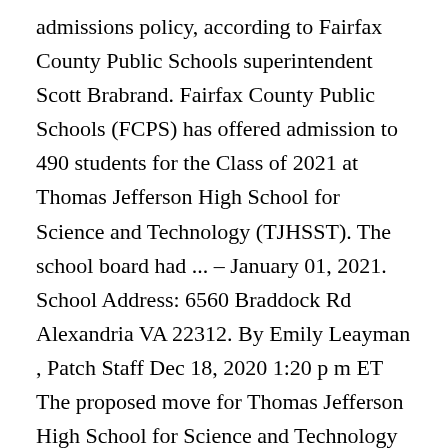admissions policy, according to Fairfax County Public Schools superintendent Scott Brabrand. Fairfax County Public Schools (FCPS) has offered admission to 490 students for the Class of 2021 at Thomas Jefferson High School for Science and Technology (TJHSST). The school board had ... – January 01, 2021. School Address: 6560 Braddock Rd Alexandria VA 22312. By Emily Leayman , Patch Staff Dec 18, 2020 1:20 p m ET The proposed move for Thomas Jefferson High School for Science and Technology in Fairfax County would have the lottery system take the place ... The total minority enrollment is 79%, and 2% of students are economically disadvantaged. Specific information about meal distribution locations